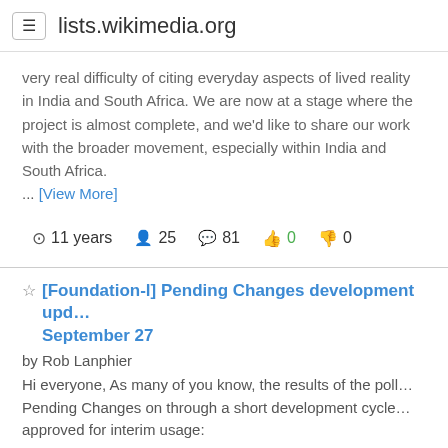lists.wikimedia.org
very real difficulty of citing everyday aspects of lived reality in India and South Africa. We are now at a stage where the project is almost complete, and we'd like to share our work with the broader movement, especially within India and South Africa. ... [View More]
11 years  25  81  0  0
[Foundation-l] Pending Changes development upd... September 27
by Rob Lanphier
Hi everyone, As many of you know, the results of the poll... Pending Changes on through a short development cycle... approved for interim usage:
http://en.wikipedia.org/wiki/Wikipedia:Pending_changes/S